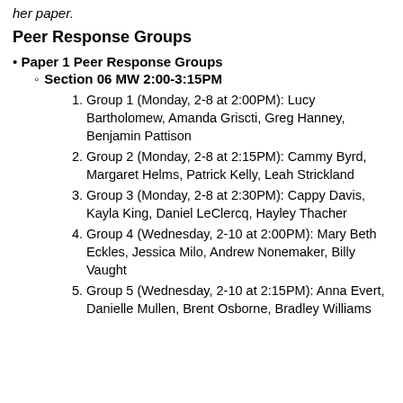her paper.
Peer Response Groups
Paper 1 Peer Response Groups
Section 06 MW 2:00-3:15PM
Group 1 (Monday, 2-8 at 2:00PM): Lucy Bartholomew, Amanda Griscti, Greg Hanney, Benjamin Pattison
Group 2 (Monday, 2-8 at 2:15PM): Cammy Byrd, Margaret Helms, Patrick Kelly, Leah Strickland
Group 3 (Monday, 2-8 at 2:30PM): Cappy Davis, Kayla King, Daniel LeClercq, Hayley Thacher
Group 4 (Wednesday, 2-10 at 2:00PM): Mary Beth Eckles, Jessica Milo, Andrew Nonemaker, Billy Vaught
Group 5 (Wednesday, 2-10 at 2:15PM): Anna Evert, Danielle Mullen, Brent Osborne, Bradley Williams